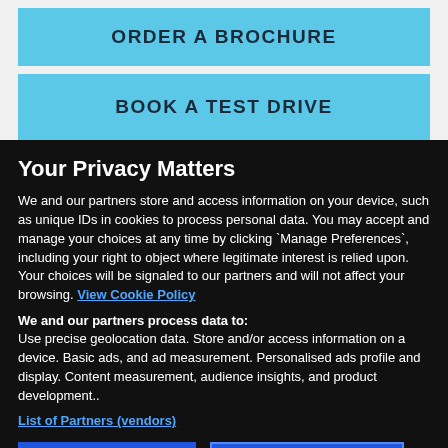ORDER A BROCHURE
BOOK A TEST DRIVE
Your Privacy Matters
We and our partners store and access information on your device, such as unique IDs in cookies to process personal data. You may accept and manage your choices at any time by clicking `Manage Preferences`, including your right to object where legitimate interest is relied upon. Your choices will be signaled to our partners and will not affect your browsing. View Cookie Policy
We and our partners process data to: Use precise geolocation data. Store and/or access information on a device. Basic ads, and ad measurement. Personalised ads profile and display. Content measurement, audience insights, and product development..
List of Partners (vendors)
I Accept
Manage Settings